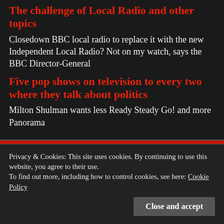The challenge of Local Radio and other topics
Closedown BBC local radio to replace it with the new Independent Local Radio? Not on my watch, says the BBC Director-General
Five pop shows on television to every two where they talk about politics
Milton Shulman wants less Ready Steady Go! and more Panorama
[Figure (other): Social sharing buttons bar (Twitter, Facebook, email, LinkedIn, more)]
Privacy & Cookies: This site uses cookies. By continuing to use this website, you agree to their use. To find out more, including how to control cookies, see here: Cookie Policy
Close and accept